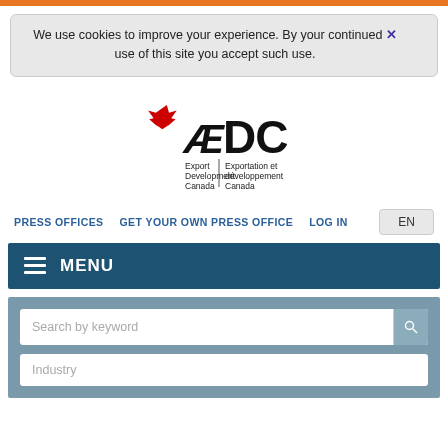We use cookies to improve your experience. By your continued use of this site you accept such use.
[Figure (logo): EDC - Export Development Canada / Exportation et développement Canada logo with red maple leaf]
PRESS OFFICES   GET YOUR OWN PRESS OFFICE   LOG IN   EN
MENU
Search by keyword
Industry